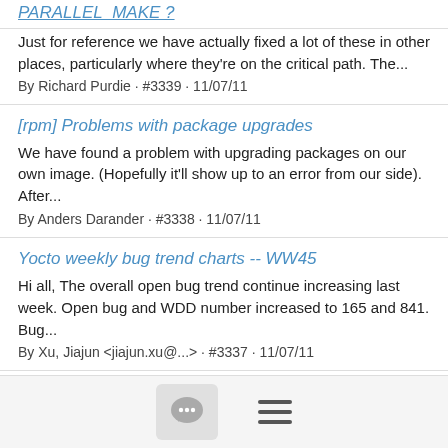PARALLEL_MAKE ?
Just for reference we have actually fixed a lot of these in other places, particularly where they're on the critical path. The...
By Richard Purdie · #3339 · 11/07/11
[rpm] Problems with package upgrades
We have found a problem with upgrading packages on our own image. (Hopefully it'll show up to an error from our side). After...
By Anders Darander · #3338 · 11/07/11
Yocto weekly bug trend charts -- WW45
Hi all, The overall open bug trend continue increasing last week. Open bug and WDD number increased to 165 and 841. Bug...
By Xu, Jiajun <jiajun.xu@...> · #3337 · 11/07/11
Re: Change splash screen
I did it by creating a .bbappend file in an overlay (which holds all my...
By Chris Tapp · #3336 · 11/04/11
[Figure (other): Bottom navigation bar with chat icon and hamburger menu icon]